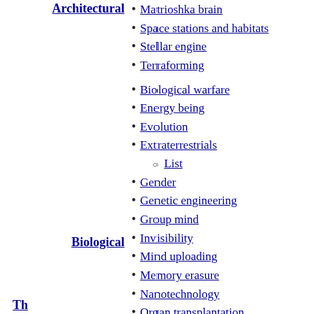Architectural
Matrioshka brain
Space stations and habitats
Stellar engine
Terraforming
Biological
Biological warfare
Energy being
Evolution
Extraterrestrials
List
Gender
Genetic engineering
Group mind
Invisibility
Mind uploading
Memory erasure
Nanotechnology
Organ transplantation
Parasites
Prosthetics
Sex and sexuality
Simulated consciousness
Superhabitable planet
Symbiosis
Th...